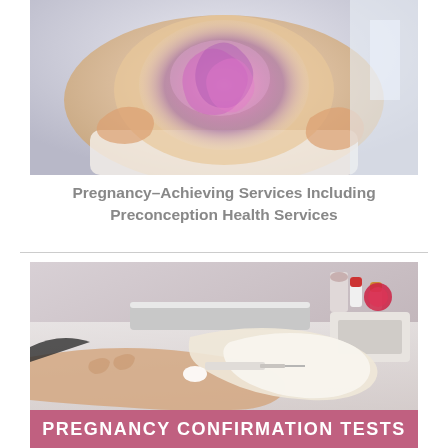[Figure (photo): Close-up of a pregnant woman holding her belly, with a glowing purple and pink ultrasonographic/x-ray style overlay showing a baby in the womb]
Pregnancy–Achieving Services Including Preconception Health Services
[Figure (photo): Medical professional drawing blood from a patient's arm for a blood test, with medical equipment and supplies in the background]
PREGNANCY CONFIRMATION TESTS